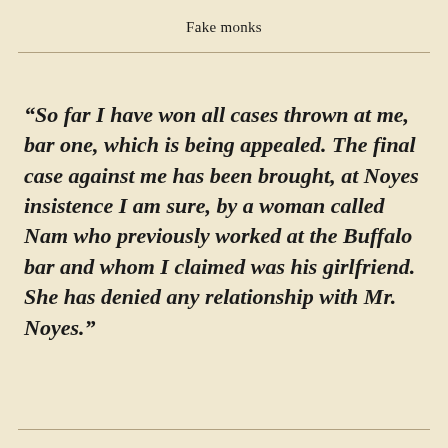Fake monks
“So far I have won all cases thrown at me, bar one, which is being appealed. The final case against me has been brought, at Noyes insistence I am sure, by a woman called Nam who previously worked at the Buffalo bar and whom I claimed was his girlfriend. She has denied any relationship with Mr. Noyes.”